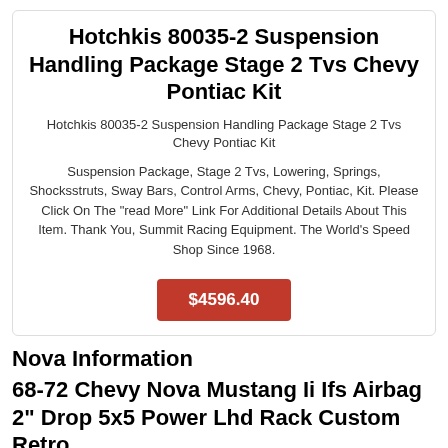Hotchkis 80035-2 Suspension Handling Package Stage 2 Tvs Chevy Pontiac Kit
Hotchkis 80035-2 Suspension Handling Package Stage 2 Tvs Chevy Pontiac Kit
Suspension Package, Stage 2 Tvs, Lowering, Springs, Shocksstruts, Sway Bars, Control Arms, Chevy, Pontiac, Kit. Please Click On The "read More" Link For Additional Details About This Item. Thank You, Summit Racing Equipment. The World's Speed Shop Since 1968.
$4596.40
Nova Information
68-72 Chevy Nova Mustang Ii Ifs Airbag 2" Drop 5x5 Power Lhd Rack Custom Retro
Steering Rack Power Lhd. Application 68-72 Chevy Nova. Bolt Pattern